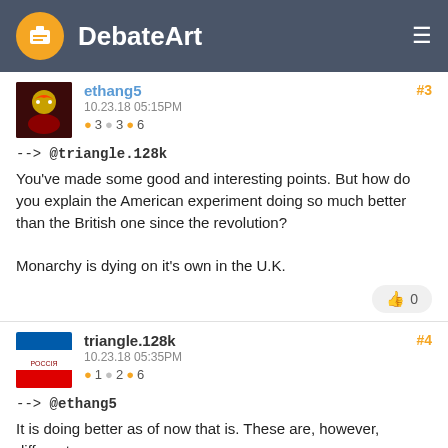DebateArt
ethang5
10.23.18 05:15PM
3 3 6
#3
--> @triangle.128k
You've made some good and interesting points. But how do you explain the American experiment doing so much better than the British one since the revolution?

Monarchy is dying on it's own in the U.K.
👍 0
triangle.128k
10.23.18 05:35PM
1 2 6
#4
--> @ethang5
It is doing better as of now that is. These are, however, different